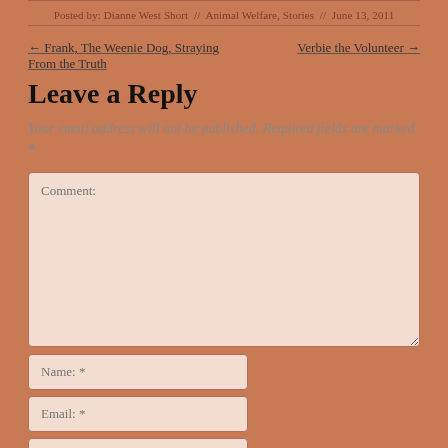Posted by: Dianne West Short // Animal Welfare, Stories // June 13, 2011
← Frank, The Weenie Dog, Straying From the Truth   Verbie the Volunteer →
Leave a Reply
Your email address will not be published. Required fields are marked *
[Figure (other): Comment text area input field]
Name: *
Email: *
Website: